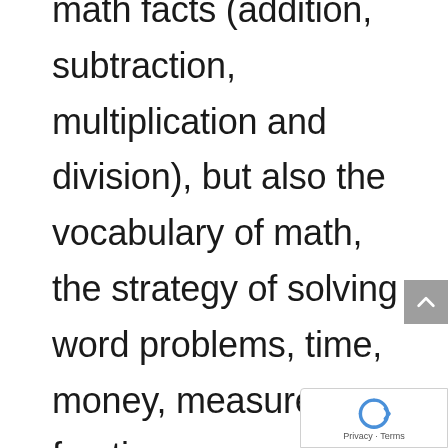math facts (addition, subtraction, multiplication and division), but also the vocabulary of math, the strategy of solving word problems, time, money, measurement, fractions, percentages, decimals and more.